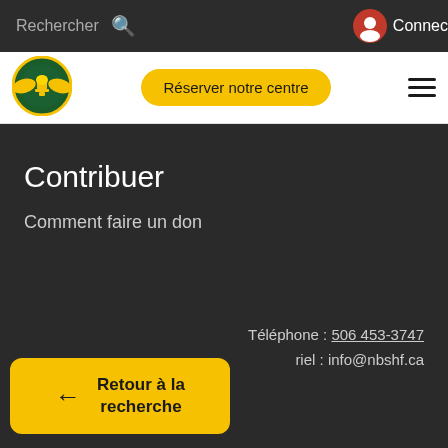Rechercher
[Figure (logo): Organization logo - circular badge with wings and trophy]
Réserver notre centre
Contribuer
Comment faire un don
Téléphone : 506 453-3747
riel : info@nbshf.ca
Retour à la recherche